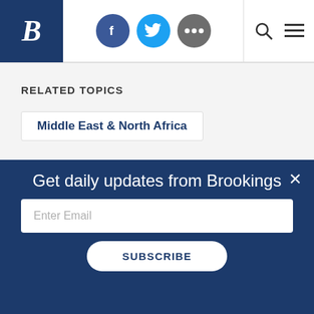Brookings Institution website header with logo, social icons (Facebook, Twitter, more), search and menu
RELATED TOPICS
Middle East & North Africa
Get daily updates from Brookings
Enter Email
SUBSCRIBE